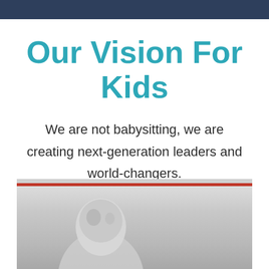Our Vision For Kids
We are not babysitting, we are creating next-generation leaders and world-changers.
[Figure (photo): Photo of a child, partially visible, with a light gray background and a red horizontal stripe near the top of the image frame.]